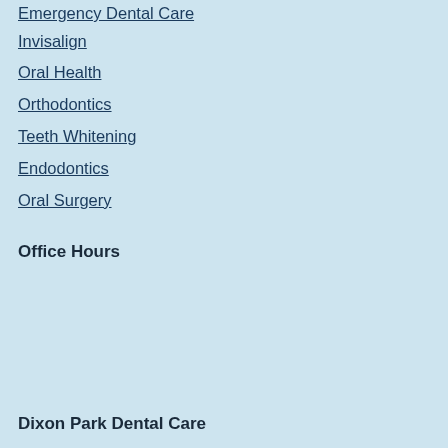Emergency Dental Care
Invisalign
Oral Health
Orthodontics
Teeth Whitening
Endodontics
Oral Surgery
Office Hours
| Day | Hours |
| --- | --- |
| M | 8:00 AM–4:30 PM |
| T | 8:00 AM–4:30 PM |
| W | 9:00 AM–5:00 PM |
| T | 8:30 AM–4:30 PM |
| F | Closed |
Dixon Park Dental Care